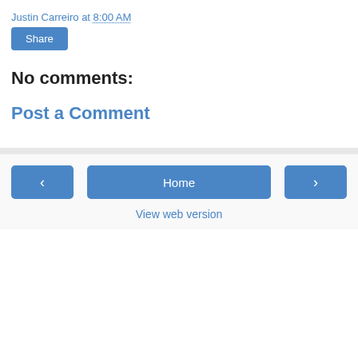Justin Carreiro at 8:00 AM
Share
No comments:
Post a Comment
‹
Home
›
View web version